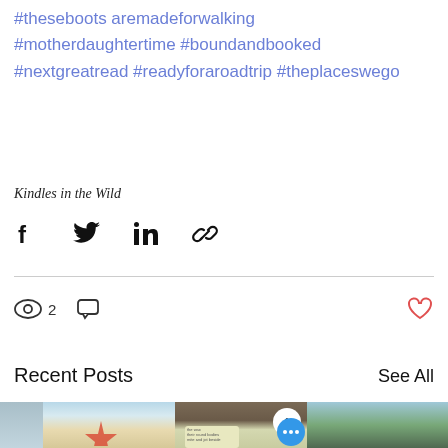#theseboots aremadeforwalking #motherdaughtertime #boundandbooked #nextgreatread #readyforaroadtrip #theplaceswego
Kindles in the Wild
[Figure (infographic): Social share icons: Facebook, Twitter, LinkedIn, link/chain]
[Figure (infographic): Stats row: eye icon with count 2, comment bubble icon, heart icon (outline, red)]
Recent Posts
See All
[Figure (photo): Row of post thumbnail photos: blue window edge, starfish on sand, stone/wood objects with a product tube, and green outdoor scene]